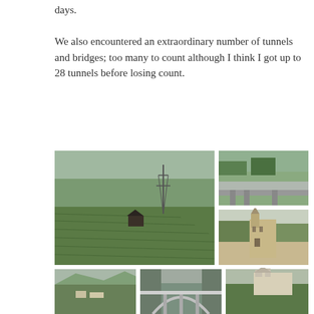days.
We also encountered an extraordinary number of tunnels and bridges; too many to count although I think I got up to 28 tunnels before losing count.
[Figure (photo): Collage of 5 travel photos showing Alpine mountain scenery, a highway bridge over a valley, terraced vineyards on hillsides, a medieval castle on a cliff, and a large arch bridge through a mountain gorge, plus a castle on a hill.]